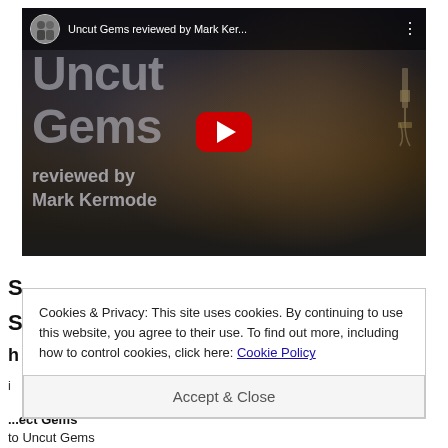[Figure (screenshot): YouTube video thumbnail for 'Uncut Gems reviewed by Mark Ker...' showing a movie still with the film's title text overlaid in large semi-transparent letters and a YouTube play button in the center. The top bar shows a circular avatar with two people, the video title, and a three-dot menu icon.]
Cookies & Privacy: This site uses cookies. By continuing to use this website, you agree to their use. To find out more, including how to control cookies, click here: Cookie Policy
Accept & Close